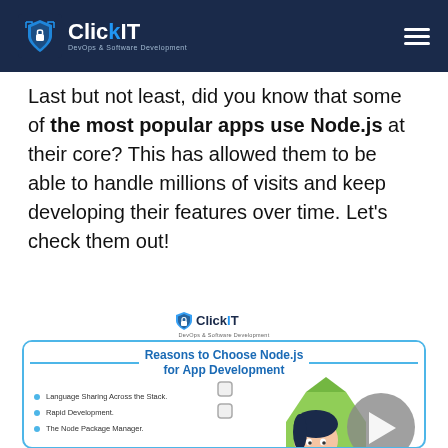ClickIT — DevOps & Software Development
Last but not least, did you know that some of the most popular apps use Node.js at their core? This has allowed them to be able to handle millions of visits and keep developing their features over time. Let’s check them out!
[Figure (infographic): ClickIT logo centered above a rounded-rectangle box titled 'Reasons to Choose Node.js for App Development'. Left side lists: Language Sharing Across the Stack, Rapid Development, The Node Package Manager. Right side shows an illustrated figure with Node.js branding.]